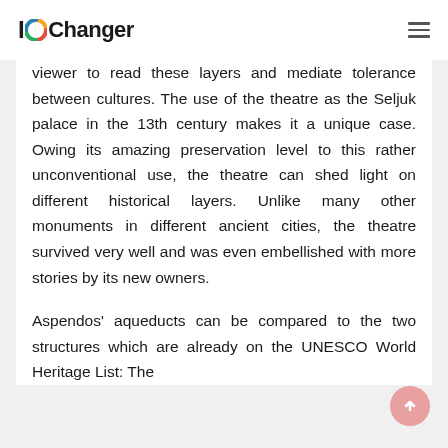IOChanger
viewer to read these layers and mediate tolerance between cultures. The use of the theatre as the Seljuk palace in the 13th century makes it a unique case. Owing its amazing preservation level to this rather unconventional use, the theatre can shed light on different historical layers. Unlike many other monuments in different ancient cities, the theatre survived very well and was even embellished with more stories by its new owners.

Aspendos' aqueducts can be compared to the two structures which are already on the UNESCO World Heritage List: The